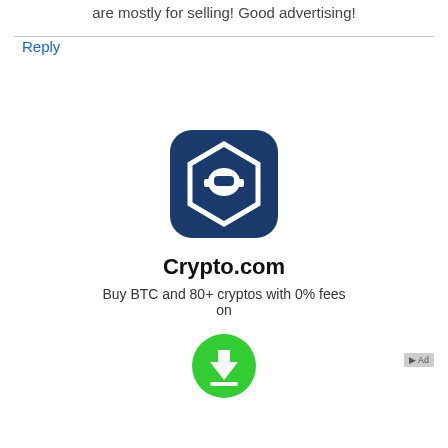are mostly for selling! Good advertising!
Reply
[Figure (logo): Crypto.com app icon — blue rounded square with white hexagon badge and robot/helmet figure]
Crypto.com
Buy BTC and 80+ cryptos with 0% fees on
[Figure (other): Green circular download button with white downward arrow]
Ad